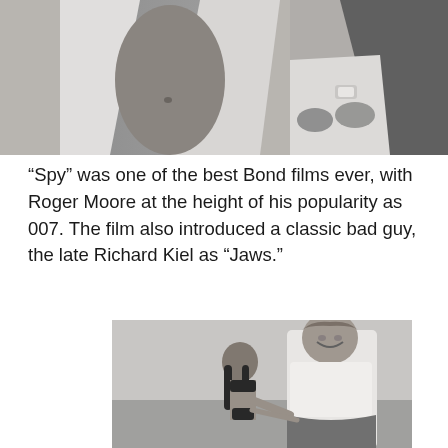[Figure (photo): Black and white photo showing partial figures, one person's torso with open shirt and another person's hands/arms with a watch visible]
“Spy” was one of the best Bond films ever, with Roger Moore at the height of his popularity as 007. The film also introduced a classic bad guy, the late Richard Kiel as “Jaws.”
[Figure (photo): Black and white photo of a tall heavyset smiling man in a white t-shirt standing next to a shorter dark-haired woman in a bikini, outdoors]